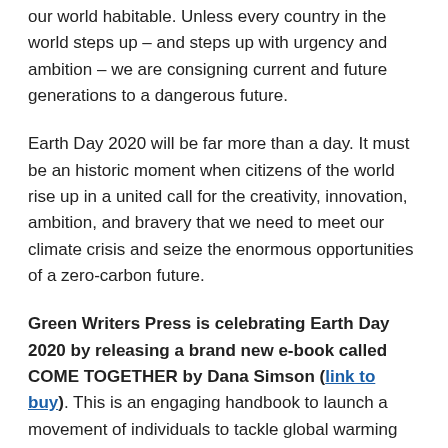our world habitable. Unless every country in the world steps up – and steps up with urgency and ambition – we are consigning current and future generations to a dangerous future.
Earth Day 2020 will be far more than a day. It must be an historic moment when citizens of the world rise up in a united call for the creativity, innovation, ambition, and bravery that we need to meet our climate crisis and seize the enormous opportunities of a zero-carbon future.
Green Writers Press is celebrating Earth Day 2020 by releasing a brand new e-book called COME TOGETHER by Dana Simson (link to buy). This is an engaging handbook to launch a movement of individuals to tackle global warming by simply retooling our daily actions. Easy proactive steps develop a long term perspective based in civility, integrity and an invigorating love for our